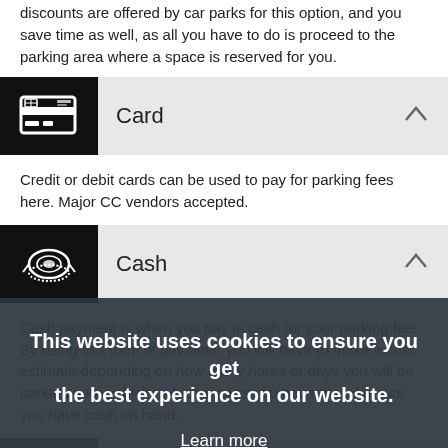discounts are offered by car parks for this option, and you save time as well, as all you have to do is proceed to the parking area where a space is reserved for you.
Card
Credit or debit cards can be used to pay for parking fees here. Major CC vendors accepted.
Cash
Cash payment is when you pay in cash for your parking fee. By using this form of payment, you will have to make a cost estimate depending on how many hours or days you will be parking your vehicle, which means you have to make sure you have cash on hand.
CCTV
CCTV is a closed-circuit television which produces images or recordings for a number of surveillance and other monitoring private purposes. These are used by car parks to ensure the safety and security of vehicles 24/7. These are strategically located all over the car park and are monitored by security personnel.
This website uses cookies to ensure you get the best experience on our website.
Learn more
Got it!